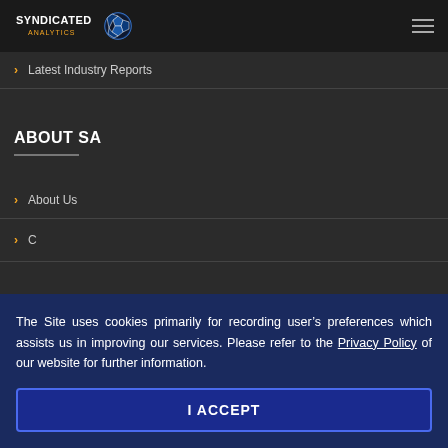Syndicated Analytics
Latest Industry Reports
ABOUT SA
About Us
C...
The Site uses cookies primarily for recording user's preferences which assists us in improving our services. Please refer to the Privacy Policy of our website for further information.
I ACCEPT